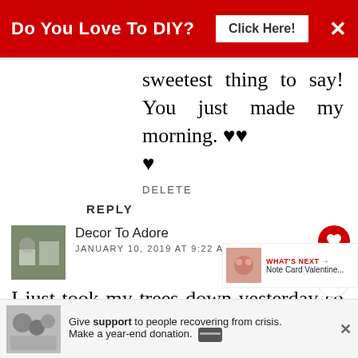[Figure (other): Red banner advertisement: 'Do You Love To DIY?' with 'Click Here!' button and close X]
sweetest thing to say! You just made my morning. ♥♥ ♥
DELETE
REPLY
Decor To Adore
JANUARY 10, 2019 AT 9:22 AM
I just took my trees down yesterday so you are in good compar… all of the banners but I do the chickens!
[Figure (other): What's Next thumbnail - Note Card Valentine...]
[Figure (other): Bottom advertisement: Give support to people recovering from crisis. Make a year-end donation.]